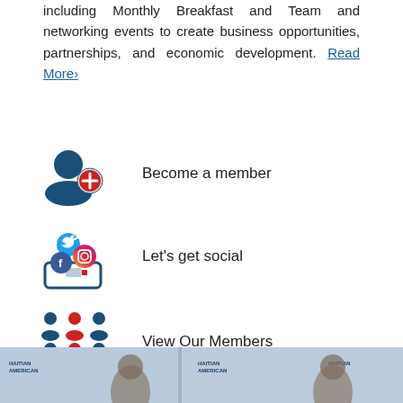including Monthly Breakfast and Team and networking events to create business opportunities, partnerships, and economic development. Read More›
Become a member
Let's get social
View Our Members
Meet The Board
[Figure (photo): Photo strip at bottom showing people in front of Haitian American Chamber banners]